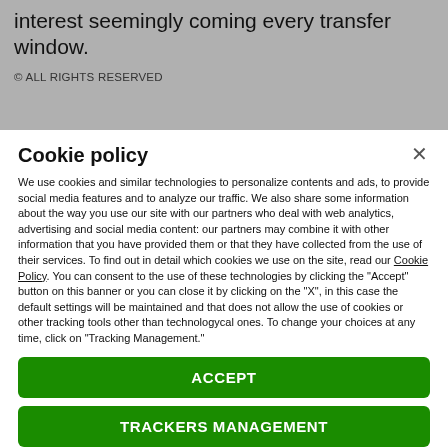interest seemingly coming every transfer window.
© ALL RIGHTS RESERVED
Cookie policy
We use cookies and similar technologies to personalize contents and ads, to provide social media features and to analyze our traffic. We also share some information about the way you use our site with our partners who deal with web analytics, advertising and social media content: our partners may combine it with other information that you have provided them or that they have collected from the use of their services. To find out in detail which cookies we use on the site, read our Cookie Policy. You can consent to the use of these technologies by clicking the "Accept" button on this banner or you can close it by clicking on the "X", in this case the default settings will be maintained and that does not allow the use of cookies or other tracking tools other than technologycal ones. To change your choices at any time, click on "Tracking Management."
ACCEPT
TRACKERS MANAGEMENT
Show vendors | Show purposes